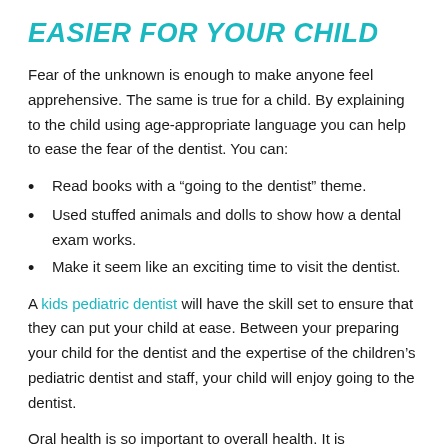EASIER FOR YOUR CHILD
Fear of the unknown is enough to make anyone feel apprehensive. The same is true for a child. By explaining to the child using age-appropriate language you can help to ease the fear of the dentist. You can:
Read books with a “going to the dentist” theme.
Used stuffed animals and dolls to show how a dental exam works.
Make it seem like an exciting time to visit the dentist.
A kids pediatric dentist will have the skill set to ensure that they can put your child at ease. Between your preparing your child for the dentist and the expertise of the children’s pediatric dentist and staff, your child will enjoy going to the dentist.
Oral health is so important to overall health. It is